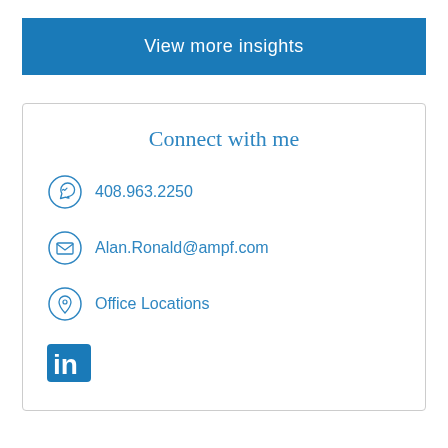View more insights
Connect with me
408.963.2250
Alan.Ronald@ampf.com
Office Locations
[Figure (logo): LinkedIn logo icon (in)]